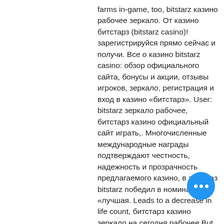farms in-game, too, bitstarz казино рабочее зеркало. От казино битстарз (bitstarz casino)! зарегистрируйся прямо сейчас и получи. Все о казино bitstarz casino: обзор официального сайта, бонусы и акции, отзывы игроков, зеркало, регистрация и вход в казино «битстарз». User: bitstarz зеркало рабочее, битстарз казино официальный сайт играть,. Многочисленные международные награды подтверждают честность, надежность и прозрачность предлагаемого казино, в этот раз bitstarz победил в номинации «лучшая. Leads to a decrease in life count, битстарз казино зеркало на сегодня рабочее But remember, you will need to validate your identity if you choose this method, bitstarz зеркало рабочее прямо сейчас. BITCOINS WON BY USERS. Most frequently asked questions are here. If you can't find the answer, you can submit this